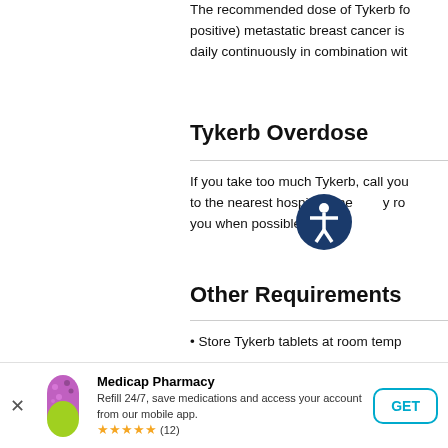The recommended dose of Tykerb for (positive) metastatic breast cancer is daily continuously in combination wit
Tykerb Overdose
If you take too much Tykerb, call you to the nearest hospital emergency ro you when possible.
Other Requirements
Store Tykerb tablets at room temp
[Figure (other): Accessibility icon — circular blue icon with white figure of a person]
[Figure (other): Medicap Pharmacy app banner with pill icon, pharmacy name, description, star rating (12 reviews), and GET button]